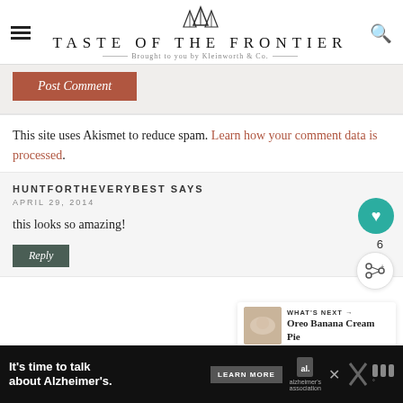TASTE OF THE FRONTIER — Brought to you by Kleinworth & Co.
[Figure (screenshot): Post Comment button (brown/terracotta color) partially visible at top of page]
This site uses Akismet to reduce spam. Learn how your comment data is processed.
HUNTFORTHEVERYBEST SAYS
APRIL 29, 2014
this looks so amazing!
[Figure (screenshot): Reply button (dark green) partially visible]
[Figure (infographic): Alzheimer's awareness ad banner at bottom: 'It's time to talk about Alzheimer's.' with LEARN MORE button and Alzheimer's Association logo]